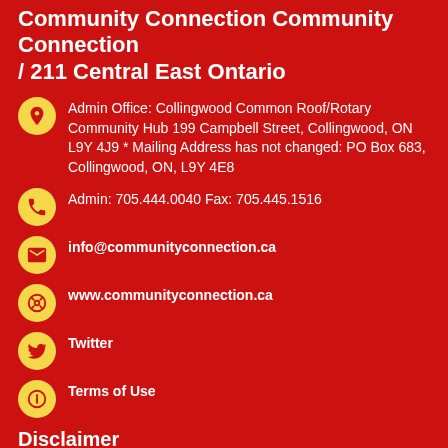Community Connection Community Connection / 211 Central East Ontario
Admin Office: Collingwood Common Roof/Rotary Community Hub 199 Campbell Street, Collingwood, ON L9Y 4J9 * Mailing Address has not changed: PO Box 683, Collingwood, ON, L9Y 4E8
Admin: 705.444.0040 Fax: 705.445.1516
info@communityconnection.ca
www.communityconnection.ca
Twitter
Terms of Use
Disclaimer
The information on the Website is provided for information purposes only. It is not intended to provide medical, legal or professional advice whatsoever and should not be relied upon in that respect. The website and the content are provided "as is". While Community Connection/211 endeavours to provide information that is correct, accurate and timely, Community Connection/211 makes no representations or warranties, express or implied, regarding the website and the content. The risk of any...